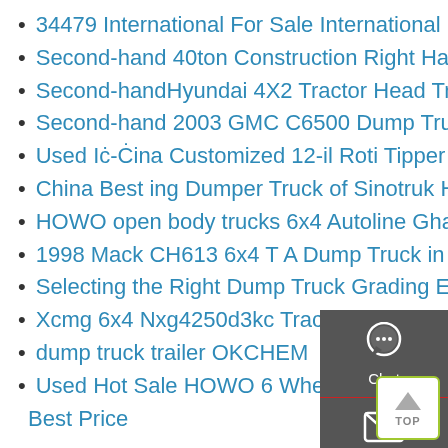34479 International For Sale International Dump Trucks
Second-hand 40ton Construction Right Hand Drive 6X4 Dump Dump Truck
Second-handHyundai 4X2 Tractor Head Tractor Truck Trailer
Second-hand 2003 GMC C6500 Dump Truck
Used Iċ-Ċina Customized 12-il Roti Tipper Truck Manufacturers
China Best ing Dumper Truck of Sinotruk HOWO 6 4
HOWO open body trucks 6x4 Autoline Ghana
1998 Mack CH613 6x4 T A Dump Truck in Belmont Ohio
Selecting the Right Dump Truck Grading Excavation
Xcmg 6x4 Nxg4250d3kc Tractor Truck Chinese Tractoren
dump truck trailer OKCHEM
Used Hot Sale HOWO 6 Wheel Dump Truck Capacity Best Price